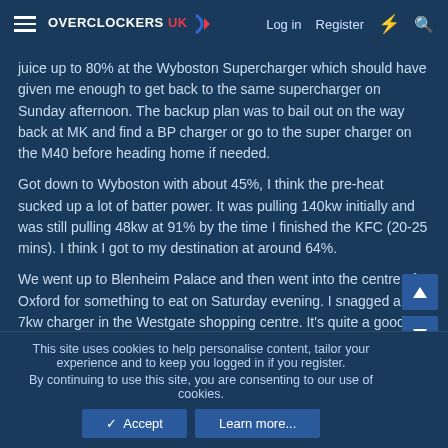Overclockers UK — Log in | Register
juice up to 80% at the Wyboston Supercharger which should have given me enough to get back to the same supercharger on Sunday afternoon. The backup plan was to bail out on the way back at MK and find a BP charger or go to the super charger on the M40 before heading home if needed.
Got down to Wyboston with about 45%, I think the pre-heat sucked up a lot of batter power. It was pulling 140kw initially and was still pulling 48kw at 91% by the time I finished the KFC (20-25 mins). I think I got to my destination at around 64%.
We went up to Blenheim Palace and then went into the centre of Oxford for something to eat on Saturday evening. I snagged a free 7kw charger in the Westgate shopping centre. It's quite a good set up there, 45 7kw chargers but they were very 'busy', lots of EV's and PHEV's actually charging but 1/3 of the bays were ICED. I think I got pretty lucky getting space as there were not any others free. I charged from about 50% to
This site uses cookies to help personalise content, tailor your experience and to keep you logged in if you register.
By continuing to use this site, you are consenting to our use of cookies.